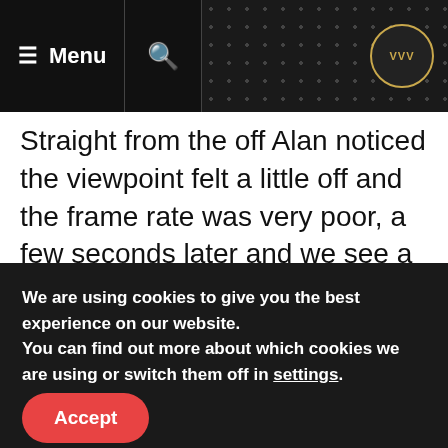≡ Menu | 🔍 | VVV
Straight from the off Alan noticed the viewpoint felt a little off and the frame rate was very poor, a few seconds later and we see a flickering wheel in front of us, it is obviously clear that this game, despite the patches, still has lots of issues indeed.
Just when you think things couldn't get any worse, Alan then suddenly has no control
We are using cookies to give you the best experience on our website.
You can find out more about which cookies we are using or switch them off in settings.
Accept